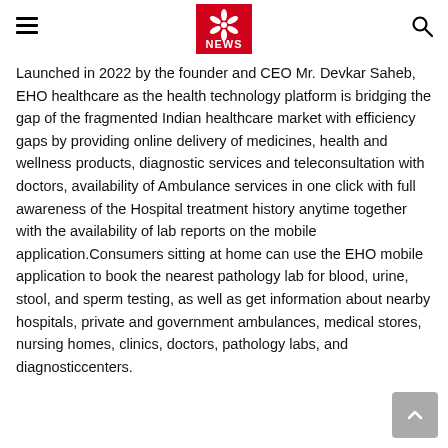NBC NEWS (logo with hamburger menu and search icon)
Launched in 2022 by the founder and CEO Mr. Devkar Saheb, EHO healthcare as the health technology platform is bridging the gap of the fragmented Indian healthcare market with efficiency gaps by providing online delivery of medicines, health and wellness products, diagnostic services and teleconsultation with doctors, availability of Ambulance services in one click with full awareness of the Hospital treatment history anytime together with the availability of lab reports on the mobile application.Consumers sitting at home can use the EHO mobile application to book the nearest pathology lab for blood, urine, stool, and sperm testing, as well as get information about nearby hospitals, private and government ambulances, medical stores, nursing homes, clinics, doctors, pathology labs, and diagnosticcenters.